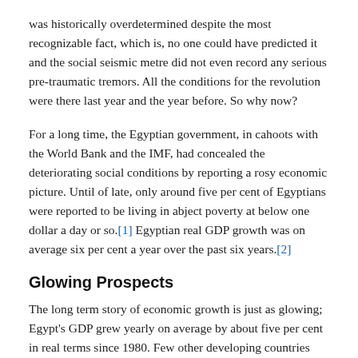was historically overdetermined despite the most recognizable fact, which is, no one could have predicted it and the social seismic metre did not even record any serious pre-traumatic tremors. All the conditions for the revolution were there last year and the year before. So why now?
For a long time, the Egyptian government, in cahoots with the World Bank and the IMF, had concealed the deteriorating social conditions by reporting a rosy economic picture. Until of late, only around five per cent of Egyptians were reported to be living in abject poverty at below one dollar a day or so.[1] Egyptian real GDP growth was on average six per cent a year over the past six years.[2]
Glowing Prospects
The long term story of economic growth is just as glowing; Egypt's GDP grew yearly on average by about five per cent in real terms since 1980. Few other developing countries can